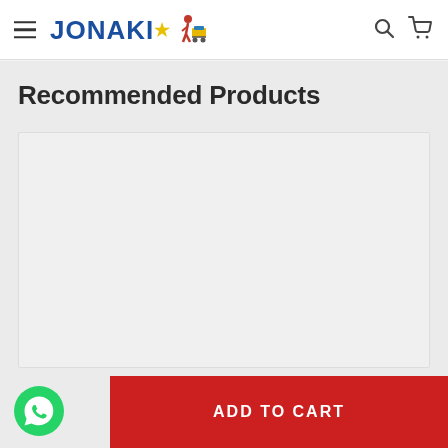JONAKI [hamburger menu, search, cart icons]
Recommended Products
[Figure (other): Product card placeholder with -21% discount badge, empty product image area]
ADD TO CART